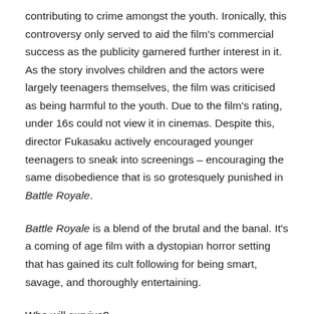contributing to crime amongst the youth. Ironically, this controversy only served to aid the film's commercial success as the publicity garnered further interest in it. As the story involves children and the actors were largely teenagers themselves, the film was criticised as being harmful to the youth. Due to the film's rating, under 16s could not view it in cinemas. Despite this, director Fukasaku actively encouraged younger teenagers to sneak into screenings – encouraging the same disobedience that is so grotesquely punished in Battle Royale.
Battle Royale is a blend of the brutal and the banal. It's a coming of age film with a dystopian horror setting that has gained its cult following for being smart, savage, and thoroughly entertaining. Who will survive? Who will turn on their friends? Who will lose their virginity before they're brutally murdered?